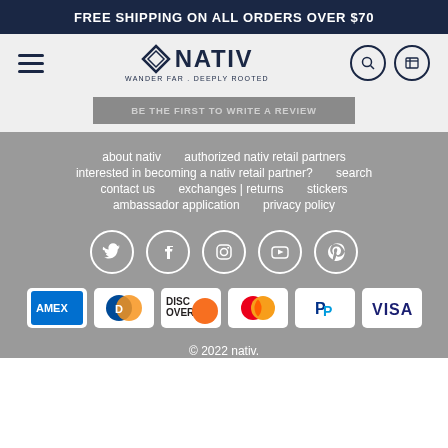FREE SHIPPING ON ALL ORDERS OVER $70
[Figure (logo): NATIV logo with tagline WANDER FAR . DEEPLY ROOTED, hamburger menu icon, search icon, cart icon]
BE THE FIRST TO WRITE A REVIEW
about nativ
authorized nativ retail partners
interested in becoming a nativ retail partner?
search
contact us
exchanges | returns
stickers
ambassador application
privacy policy
[Figure (infographic): Social media icons: Twitter, Facebook, Instagram, YouTube, Pinterest — white circle outlines on gray background]
[Figure (infographic): Payment method icons: AMEX, Diners Club, Discover, Mastercard, PayPal, VISA]
© 2022 nativ.